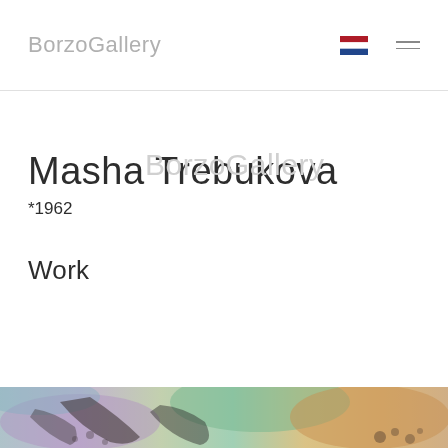BorzoGallery
Masha Trebukova
*1962
Work
[Figure (photo): Abstract colorful painting with layered pastel tones of green, orange, purple, and blue with dark brushstroke marks overlaid]